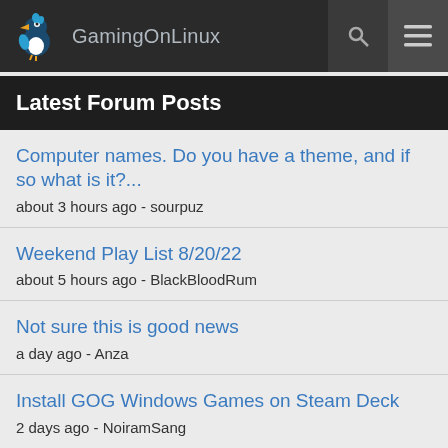GamingOnLinux
Latest Forum Posts
Computer names. Do you have a theme, and if so what is it?...
about 3 hours ago - sourpuz
Weekend Play List 8/20/22
about 5 hours ago - BlackBloodRum
Not sure this is good news
a day ago - Anza
Install GOG Windows Games on Steam Deck
2 days ago - NoiramSang
Is there a way to add (and use) new desktop/kde user 2